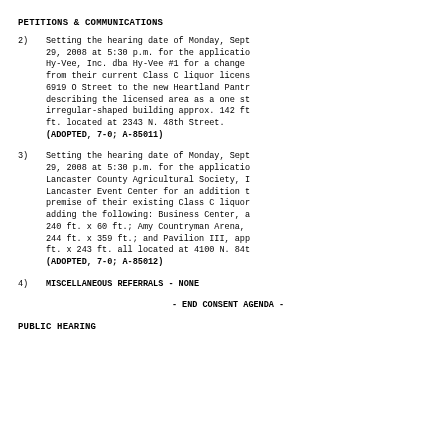PETITIONS & COMMUNICATIONS
2)  Setting the hearing date of Monday, Sept 29, 2008 at 5:30 p.m. for the application of Hy-Vee, Inc. dba Hy-Vee #1 for a change from their current Class C liquor license at 6919 O Street to the new Heartland Pantry describing the licensed area as a one story irregular-shaped building approx. 142 ft. x ft. located at 2343 N. 48th Street. (ADOPTED, 7-0; A-85011)
3)  Setting the hearing date of Monday, Sept 29, 2008 at 5:30 p.m. for the application of Lancaster County Agricultural Society, Inc. dba Lancaster Event Center for an addition to the premise of their existing Class C liquor license adding the following: Business Center, approx. 240 ft. x 60 ft.; Amy Countryman Arena, approx. 244 ft. x 359 ft.; and Pavilion III, approx. 300 ft. x 243 ft. all located at 4100 N. 84th Street. (ADOPTED, 7-0; A-85012)
4)  MISCELLANEOUS REFERRALS - NONE
- END CONSENT AGENDA -
PUBLIC HEARING